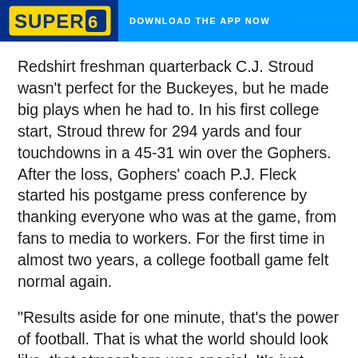[Figure (logo): Super 6 sports prediction app banner advertisement with yellow/blue Super 6 logo on dark blue background on the left, and 'DOWNLOAD THE APP NOW' call-to-action on bright blue background on the right]
Redshirt freshman quarterback C.J. Stroud wasn't perfect for the Buckeyes, but he made big plays when he had to. In his first college start, Stroud threw for 294 yards and four touchdowns in a 45-31 win over the Gophers. After the loss, Gophers' coach P.J. Fleck started his postgame press conference by thanking everyone who was at the game, from fans to media to workers. For the first time in almost two years, a college football game felt normal again.
"Results aside for one minute, that's the power of football. That is what the world should look like, that atmosphere was special. It's just really good to have football back," Fleck said. "We've got to be better, we didn't do well...